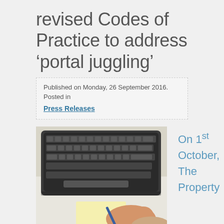revised Codes of Practice to address 'portal juggling'
Published on Monday, 26 September 2016. Posted in
Press Releases
[Figure (photo): Photo of hands writing on a sticky note with a pen, with a keyboard visible in the background on a white desk]
On 1st October, The Property